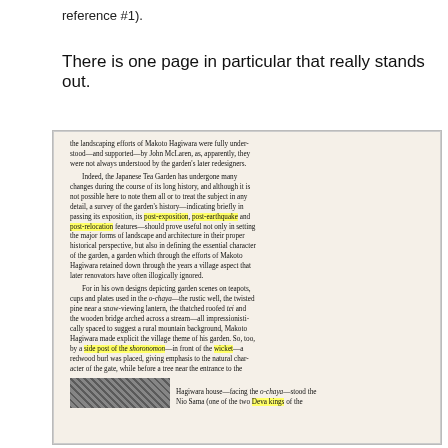reference #1).
There is one page in particular that really stands out.
[Figure (photo): Photograph of a book page with highlighted text about the Japanese Tea Garden, mentions of Makoto Hagiwara, post-exposition, post-earthquake, post-relocation features, shoronomon, wicket, Deva kings. Some phrases highlighted in yellow.]